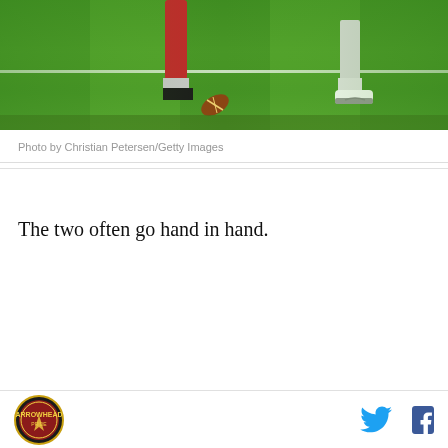[Figure (photo): Football players' legs on a green field, showing red uniforms/socks and white cleats. Photo captures a kicking or running motion near the ground level.]
Photo by Christian Petersen/Getty Images
The two often go hand in hand.
Logo and social media icons (Twitter, Facebook)